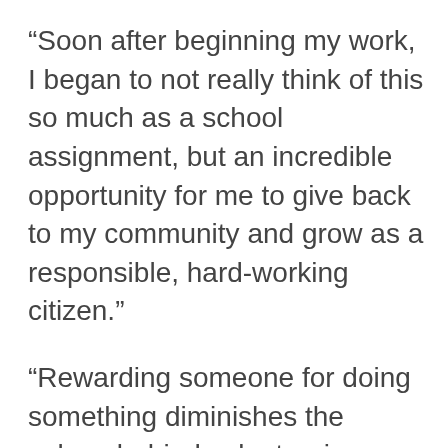“Soon after beginning my work, I began to not really think of this so much as a school assignment, but an incredible opportunity for me to give back to my community and grow as a responsible, hard-working citizen.”
“Rewarding someone for doing something diminishes the values behind volunteering, turning what